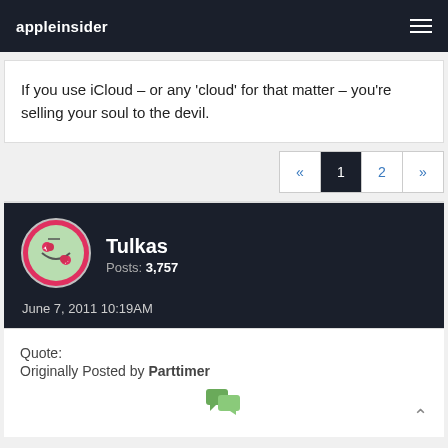appleinsider
If you use iCloud – or any 'cloud' for that matter – you're selling your soul to the devil.
« 1 2 »
Tulkas
Posts: 3,757
June 7, 2011 10:19AM
Quote:
Originally Posted by Parttimer